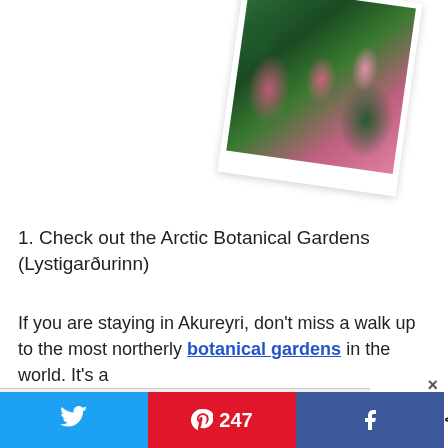[Figure (photo): Polaroid-style photo of colorful pink flowers and green leaves, rotated slightly clockwise, partially visible at top of page]
1. Check out the Arctic Botanical Gardens (Lystigarðurinn)
If you are staying in Akureyri, don't miss a walk up to the most northerly botanical gardens in the world. It's a
SueWhereWhyWhat.com uses cookies to ensure you get the best experience on our website.
Decline  Accept
247  247 SHARES (social share bar)